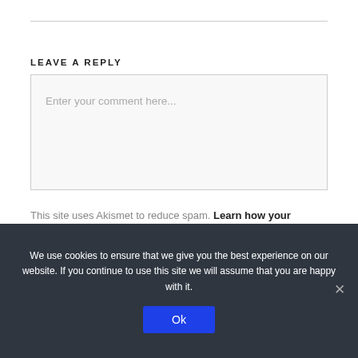LEAVE A REPLY
Enter your comment here...
This site uses Akismet to reduce spam. Learn how your comment data is processed.
We use cookies to ensure that we give you the best experience on our website. If you continue to use this site we will assume that you are happy with it.
Ok